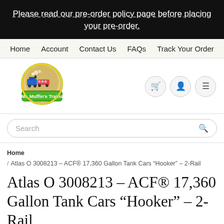Please read our pre-order policy page before placing your pre-order.
Home  Account  Contact Us  FAQs  Track Your Order
[Figure (logo): Mr. Muffin's Trains logo: circular badge with train illustration on sandy/tan background, with green banner at bottom reading 'Mr. Muffin's Trains']
Search
Home / Atlas O 3008213 – ACF® 17,360 Gallon Tank Cars "Hooker" – 2-Rail
Atlas O 3008213 – ACF® 17,360 Gallon Tank Cars "Hooker" – 2-Rail